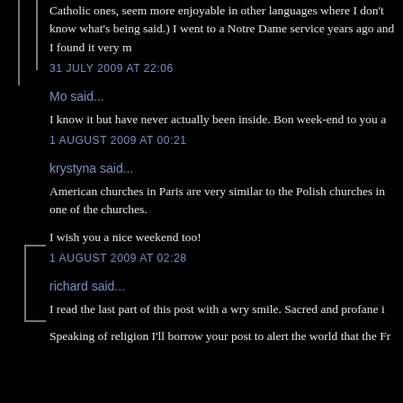Catholic ones, seem more enjoyable in other languages where I don't know what's being said.) I went to a Notre Dame service years ago and I found it very m
31 JULY 2009 AT 22:06
Mo said...
I know it but have never actually been inside. Bon week-end to you a
1 AUGUST 2009 AT 00:21
krystyna said...
American churches in Paris are very similar to the Polish churches in one of the churches.
I wish you a nice weekend too!
1 AUGUST 2009 AT 02:28
richard said...
I read the last part of this post with a wry smile. Sacred and profane i
Speaking of religion I'll borrow your post to alert the world that the Fr